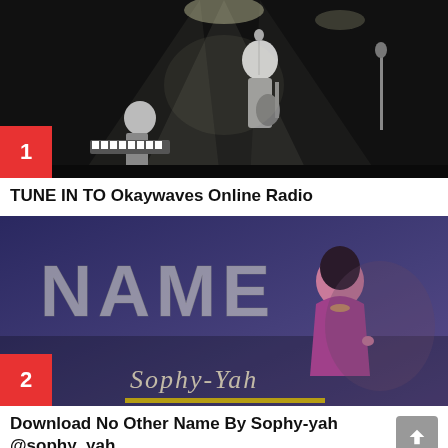[Figure (photo): Black and white concert photo of musicians performing on stage with spotlights, with a red badge showing number 1 in the bottom left corner]
TUNE IN TO Okaywaves Online Radio
[Figure (photo): Music cover art showing a woman in a purple outfit with the word NAME in large letters, text 'Sophy-Yah' in script, with a red badge showing number 2 in the bottom left corner]
Download No Other Name By Sophy-yah @sophy_yah